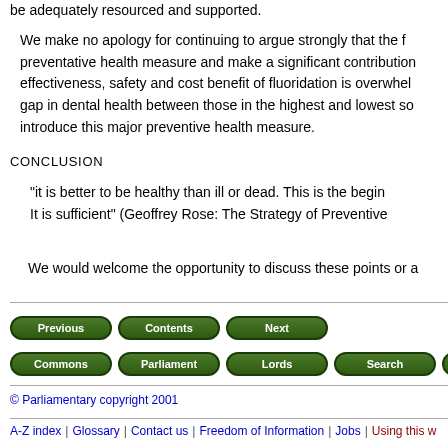be adequately resourced and supported.
We make no apology for continuing to argue strongly that the f preventative health measure and make a significant contribution effectiveness, safety and cost benefit of fluoridation is overwhel gap in dental health between those in the highest and lowest so introduce this major preventive health measure.
CONCLUSION
"it is better to be healthy than ill or dead. This is the begin It is sufficient" (Geoffrey Rose: The Strategy of Preventive
We would welcome the opportunity to discuss these points or a
[Figure (screenshot): Navigation buttons row 1: Previous, Contents, Next]
[Figure (screenshot): Navigation buttons row 2: Commons, Parliament, Lords, Search, E...]
© Parliamentary copyright 2001
A-Z index | Glossary | Contact us | Freedom of Information | Jobs | Using this w